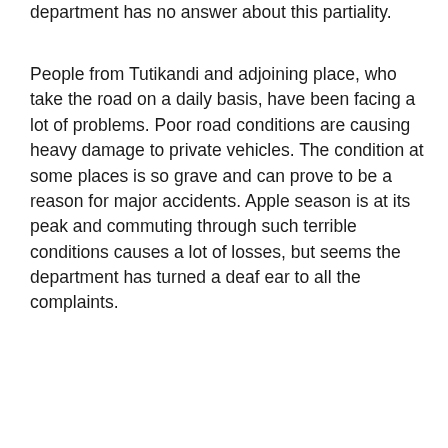department has no answer about this partiality.
People from Tutikandi and adjoining place, who take the road on a daily basis, have been facing a lot of problems. Poor road conditions are causing heavy damage to private vehicles. The condition at some places is so grave and can prove to be a reason for major accidents. Apple season is at its peak and commuting through such terrible conditions causes a lot of losses, but seems the department has turned a deaf ear to all the complaints.